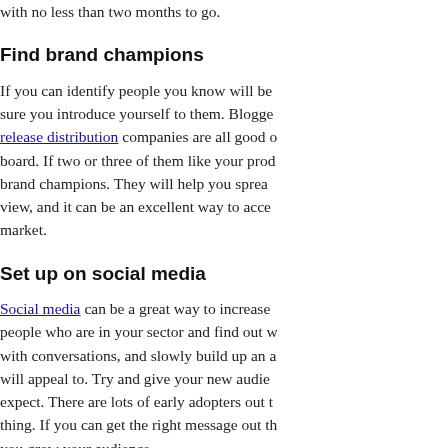with no less than two months to go.
Find brand champions
If you can identify people you know will be sure you introduce yourself to them. Bloggers, release distribution companies are all good board. If two or three of them like your product brand champions. They will help you spread view, and it can be an excellent way to access market.
Set up on social media
Social media can be a great way to increase people who are in your sector and find out with conversations, and slowly build up an audience will appeal to. Try and give your new audience expect. There are lots of early adopters out there thing. If you can get the right message out there you grow your audience.
Get freaky
Don't be frightened of pulling off an unusual suits it, of course. The likes of BrewDog and